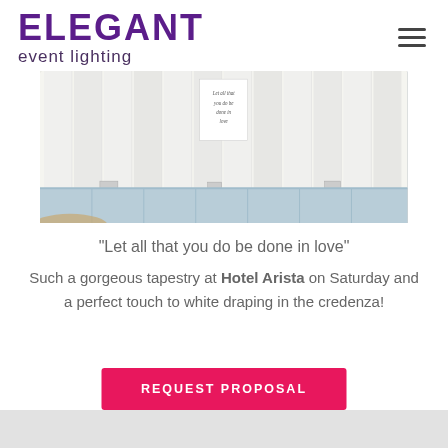[Figure (logo): Elegant Event Lighting logo with hamburger menu icon]
[Figure (photo): White draped curtain tapestry backdrop with a calligraphy sign and blue credenza below at Hotel Arista]
“Let all that you do be done in love”
Such a gorgeous tapestry at Hotel Arista on Saturday and a perfect touch to white draping in the credenza!
REQUEST PROPOSAL